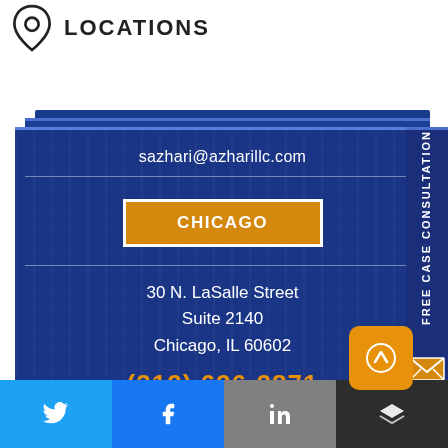LOCATIONS
sazhari@azharillc.com
CHICAGO
30 N. LaSalle Street
Suite 2140
Chicago, IL 60602
(312) 626-2871
ROLLING MEADOWS
3601 Algonquin Road
Suite 716
FREE CASE CONSULTATION